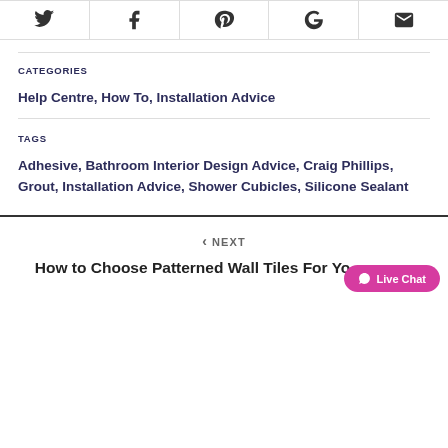[Figure (other): Social sharing icons row: Twitter, Facebook, Pinterest, Google, Email]
CATEGORIES
Help Centre, How To, Installation Advice
TAGS
Adhesive, Bathroom Interior Design Advice, Craig Phillips, Grout, Installation Advice, Shower Cubicles, Silicone Sealant
< NEXT
How to Choose Patterned Wall Tiles For You